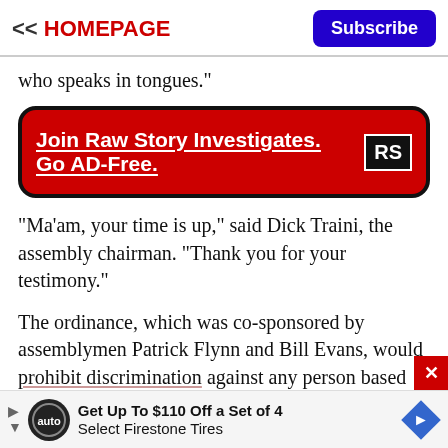<< HOMEPAGE | Subscribe
who speaks in tongues."
[Figure (infographic): Red banner ad with black border and rounded corners reading 'Join Raw Story Investigates. Go AD-Free.' with RS logo]
"Ma'am, your time is up," said Dick Traini, the assembly chairman. "Thank you for your testimony."
The ordinance, which was co-sponsored by assemblymen Patrick Flynn and Bill Evans, would prohibit discrimination against any person based on sexual orientation or gender identity in employment, public accommodations and housing.
[Figure (infographic): Bottom advertisement banner: Get Up To $110 Off a Set of 4 Select Firestone Tires]